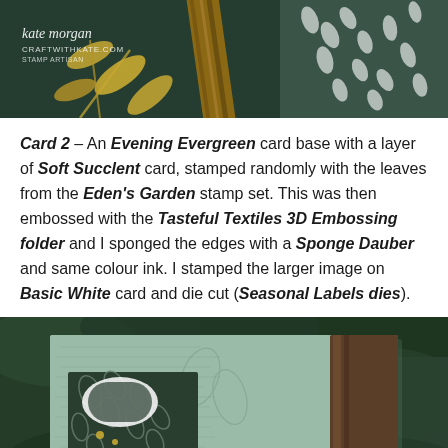[Figure (photo): Close-up photo of a handmade card with dark green botanical background, gold leaf designs, a wood-grain ribbon element, and white leaf pattern on right side. Watermark reads 'kate morgan craftwithkate.com stamp artisan']
Card 2 – An Evening Evergreen card base with a layer of Soft Succlent card, stamped randomly with the leaves from the Eden's Garden stamp set. This was then embossed with the Tasteful Textiles 3D Embossing folder and I sponged the edges with a Sponge Dauber and same colour ink. I stamped the larger image on Basic White card and die cut (Seasonal Labels dies).
[Figure (photo): Photo of a handmade card displayed outdoors against green foliage background. Card features a sage/mint green embossed texture with botanical elements, and a smaller patterned card layer with dark green leaf design and gold accents.]